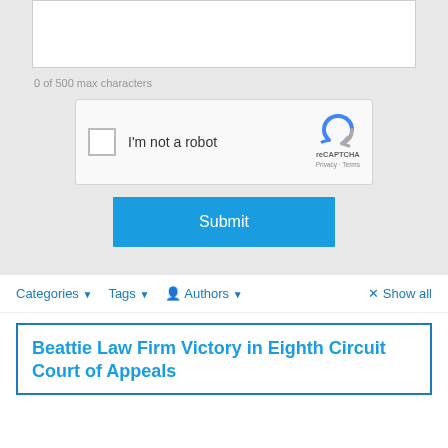[Figure (screenshot): White textarea input box for form submission, partially visible at top]
0 of 500 max characters
[Figure (screenshot): reCAPTCHA widget with checkbox 'I'm not a robot' and reCAPTCHA logo with Privacy and Terms links]
[Figure (screenshot): Blue Submit button]
Categories ▼   Tags ▼   Authors ▼   × Show all
Beattie Law Firm Victory in Eighth Circuit Court of Appeals